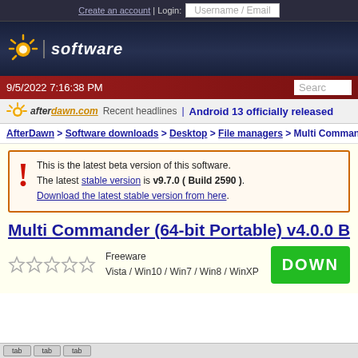Create an account | Login: Username / Email
[Figure (logo): AfterDawn software site logo with sun icon and 'software' text]
9/5/2022 7:16:38 PM  Search
afterdawn.com Recent headlines | Android 13 officially released
AfterDawn > Software downloads > Desktop > File managers > Multi Commander
This is the latest beta version of this software. The latest stable version is v9.7.0 ( Build 2590 ). Download the latest stable version from here.
Multi Commander (64-bit Portable) v4.0.0 Be...
Freeware
Vista / Win10 / Win7 / Win8 / WinXP
[Figure (other): Green DOWNLOAD button (partially visible)]